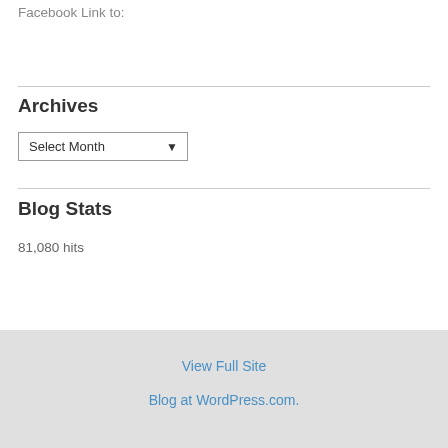Facebook Link to:
Archives
Select Month
Blog Stats
81,080 hits
View Full Site
Blog at WordPress.com.